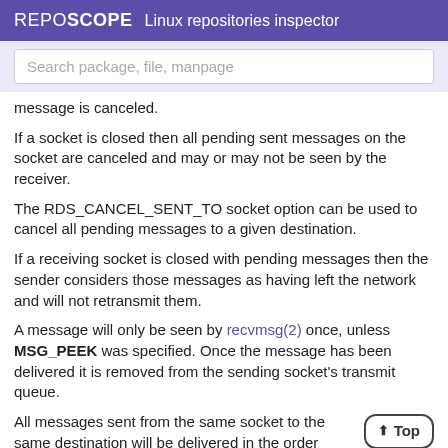REPOSCOPE Linux repositories inspector
Search package, file, manpage
message is canceled.
If a socket is closed then all pending sent messages on the socket are canceled and may or may not be seen by the receiver.
The RDS_CANCEL_SENT_TO socket option can be used to cancel all pending messages to a given destination.
If a receiving socket is closed with pending messages then the sender considers those messages as having left the network and will not retransmit them.
A message will only be seen by recvmsg(2) once, unless MSG_PEEK was specified. Once the message has been delivered it is removed from the sending socket's transmit queue.
All messages sent from the same socket to the same destination will be delivered in the order they're sent. Messages sent from different sockets, or to different destinations, may be delivered in any order.
SYSCTL VALUES